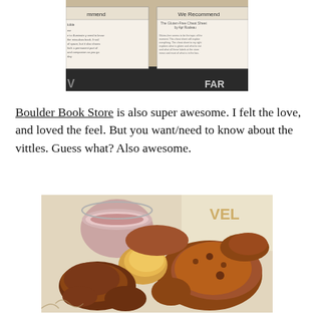[Figure (photo): Photo of a bookstore display with signs reading 'We Recommend' and other recommendation cards, with 'FAR' visible in the lower right corner.]
Boulder Book Store is also super awesome. I felt the love, and loved the feel. But you want/need to know about the vittles. Guess what? Also awesome.
[Figure (photo): Photo of a basket of fried chicken and shrimp with a dipping sauce in a plastic cup, served on paper liner.]